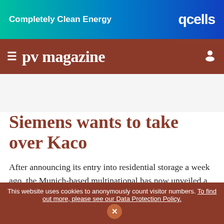[Figure (other): Qcells advertisement banner with teal-to-blue gradient background. Left side: bold white text 'Completely Clean Energy'. Right side: large white bold text 'qcells' logo.]
≡  pv magazine
Siemens wants to take over Kaco
After announcing its entry into residential storage a week ago, the Munich-based multinational has now unveiled a plan to acquire inverter manufacturer Kaco. Siemens has not provided details about the
This website uses cookies to anonymously count visitor numbers. To find out more, please see our Data Protection Policy.